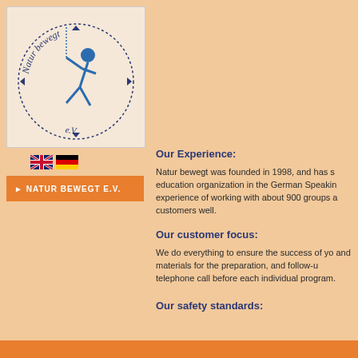[Figure (logo): Natur bewegt e.V. logo: circular dotted border with blue stick figure climbing, text 'Natur bewegt e.V.' curved around the circle]
[Figure (other): UK and German flag icons side by side]
► NATUR BEWEGT E.V.
Our Experience:
Natur bewegt was founded in 1998, and has s education organization in the German Speakin experience of working with about 900 groups a customers well.
Our customer focus:
We do everything to ensure the success of yo and materials for the preparation, and follow-u telephone call before each individual program.
Our safety standards: